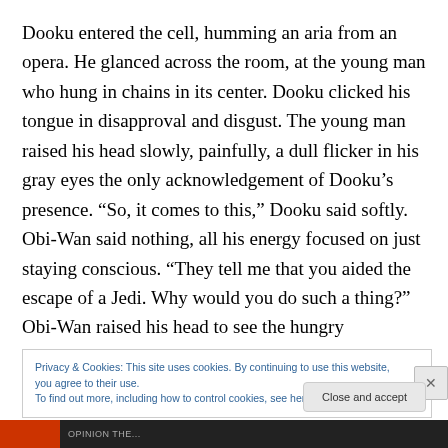Dooku entered the cell, humming an aria from an opera. He glanced across the room, at the young man who hung in chains in its center. Dooku clicked his tongue in disapproval and disgust. The young man raised his head slowly, painfully, a dull flicker in his gray eyes the only acknowledgement of Dooku’s presence. “So, it comes to this,” Dooku said softly. Obi-Wan said nothing, all his energy focused on just staying conscious. “They tell me that you aided the escape of a Jedi. Why would you do such a thing?” Obi-Wan raised his head to see the hungry
Privacy & Cookies: This site uses cookies. By continuing to use this website, you agree to their use.
To find out more, including how to control cookies, see here: Cookie Policy
Close and accept